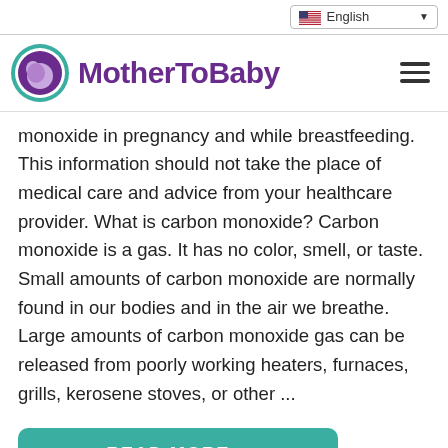English
[Figure (logo): MotherToBaby logo: teal and purple circular icon with a mother-and-baby silhouette, next to the text 'MotherToBaby' in purple]
monoxide in pregnancy and while breastfeeding. This information should not take the place of medical care and advice from your healthcare provider. What is carbon monoxide? Carbon monoxide is a gas. It has no color, smell, or taste. Small amounts of carbon monoxide are normally found in our bodies and in the air we breathe. Large amounts of carbon monoxide gas can be released from poorly working heaters, furnaces, grills, kerosene stoves, or other ...
READ MORE...